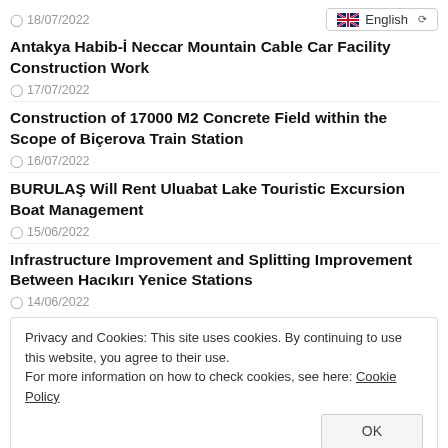18/07/2022
English
Antakya Habib-İ Neccar Mountain Cable Car Facility Construction Work
17/07/2022
Construction of 17000 M2 Concrete Field within the Scope of Biçerova Train Station
16/07/2022
BURULAŞ Will Rent Uluabat Lake Touristic Excursion Boat Management
15/06/2022
Infrastructure Improvement and Splitting Improvement Between Hacıkırı Yenice Stations
14/06/2022
Privacy and Cookies: This site uses cookies. By continuing to use this website, you agree to their use.
For more information on how to check cookies, see here: Cookie Policy
OK
Eskişenir Metropolitan Municipality 15 Trams